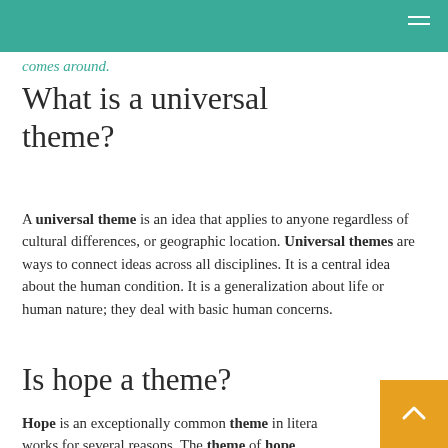comes around.
What is a universal theme?
A universal theme is an idea that applies to anyone regardless of cultural differences, or geographic location. Universal themes are ways to connect ideas across all disciplines. It is a central idea about the human condition. It is a generalization about life or human nature; they deal with basic human concerns.
Is hope a theme?
Hope is an exceptionally common theme in literary works for several reasons. The theme of hope directly addresses one of the foremost characteristics of human experiences: anxiety about the uncertainty of the future.